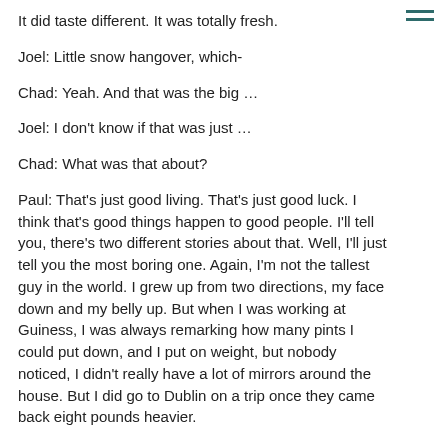It did taste different. It was totally fresh.
Joel: Little snow hangover, which-
Chad: Yeah. And that was the big …
Joel: I don't know if that was just …
Chad: What was that about?
Paul: That's just good living. That's just good luck. I think that's good things happen to good people. I'll tell you, there's two different stories about that. Well, I'll just tell you the most boring one. Again, I'm not the tallest guy in the world. I grew up from two directions, my face down and my belly up. But when I was working at Guiness, I was always remarking how many pints I could put down, and I put on weight, but nobody noticed, I didn't really have a lot of mirrors around the house. But I did go to Dublin on a trip once they came back eight pounds heavier.